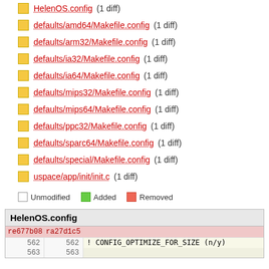HelenOS.config (1 diff)
defaults/amd64/Makefile.config (1 diff)
defaults/arm32/Makefile.config (1 diff)
defaults/ia32/Makefile.config (1 diff)
defaults/ia64/Makefile.config (1 diff)
defaults/mips32/Makefile.config (1 diff)
defaults/mips64/Makefile.config (1 diff)
defaults/ppc32/Makefile.config (1 diff)
defaults/sparc64/Makefile.config (1 diff)
defaults/special/Makefile.config (1 diff)
uspace/app/init/init.c (1 diff)
Unmodified   Added   Removed
HelenOS.config
| re677b08 | ra27d1c5 |  |
| --- | --- | --- |
| 562 | 562 | ! CONFIG_OPTIMIZE_FOR_SIZE (n/y) |
| 563 | 563 |  |